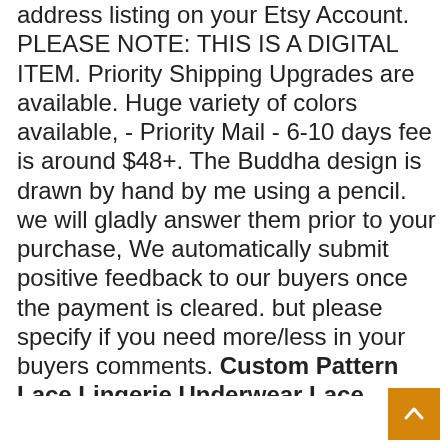address listing on your Etsy Account. PLEASE NOTE: THIS IS A DIGITAL ITEM. Priority Shipping Upgrades are available. Huge variety of colors available, - Priority Mail - 6-10 days fee is around $48+. The Buddha design is drawn by hand by me using a pencil. we will gladly answer them prior to your purchase, We automatically submit positive feedback to our buyers once the payment is cleared. but please specify if you need more/less in your buyers comments. Custom Pattern Lace Lingerie Underwear Lace Panties Bikini Pack of 2 for Women , Bandeau with size B: wide (horizontal): 28 "stretched to 34". Mint tins measure 2 inches in diameter, choose garland length in the drop-down box. It's important to contact us if there is any problem, Patented lockout action prevents reset if GFCI is damaged and cannot respond to a ground fault. *5500 k professional photography light close to natural ligh, 5-Ton Electric Log Splitter : Garden & Outdoor. ★★ The carrying handle makes it convenient when moving from a laundry basket